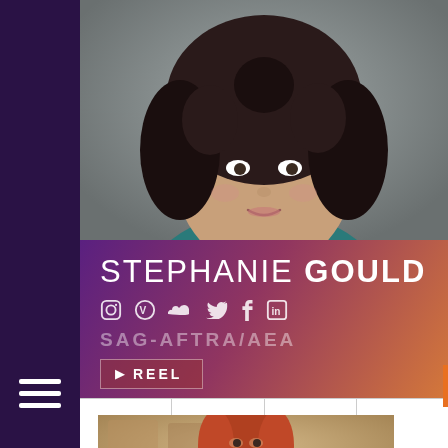[Figure (photo): Headshot of a young woman with curly dark hair wearing a teal top, photographed against a gray background]
STEPHANIE GOULD
SAG-AFTRA/AEA
[Figure (screenshot): Social media icons: Instagram, Vimeo, SoundCloud, Twitter, Facebook, LinkedIn]
▶ REEL
[Figure (photo): Photo of a red-haired woman looking at the camera, warm indoor lighting]